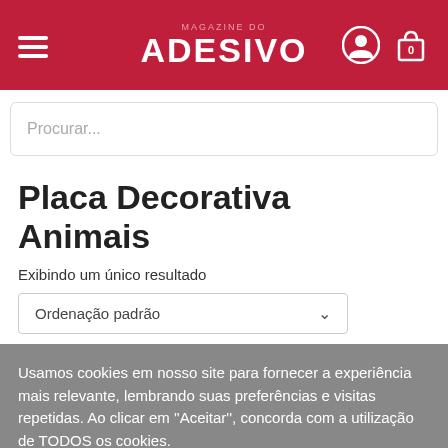MAGAZINE DO ADESIVO
Procurar...
Placa Decorativa Animais
Exibindo um único resultado
Ordenação padrão
Usamos cookies em nosso site para fornecer a experiência mais relevante, lembrando suas preferências e visitas repetidas. Ao clicar em "Aceitar", concorda com a utilização de TODOS os cookies.
Mais informações
ACEITAR